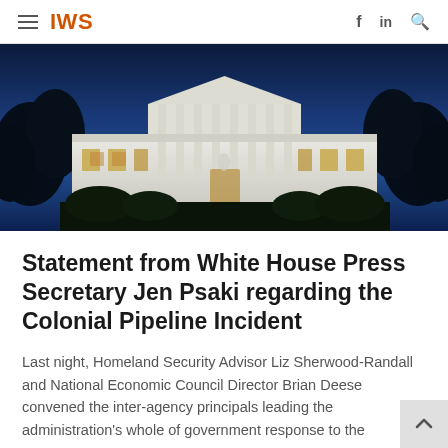IWS
[Figure (photo): White House at night/dusk with lights on, blue sky background, illuminated columns and facade, dark trees on either side]
Statement from White House Press Secretary Jen Psaki regarding the Colonial Pipeline Incident
Last night, Homeland Security Advisor Liz Sherwood-Randall and National Economic Council Director Brian Deese convened the inter-agency principals leading the administration's whole of government response to the